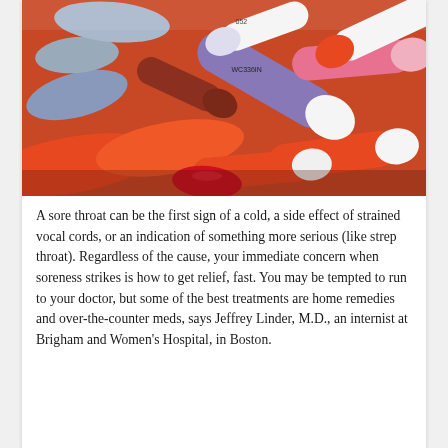[Figure (photo): Close-up photo of a pile of colorful capsule pills in various colors including orange, white, red, pink, blue-grey, and purple.]
A sore throat can be the first sign of a cold, a side effect of strained vocal cords, or an indication of something more serious (like strep throat). Regardless of the cause, your immediate concern when soreness strikes is how to get relief, fast. You may be tempted to run to your doctor, but some of the best treatments are home remedies and over-the-counter meds, says Jeffrey Linder, M.D., an internist at Brigham and Women's Hospital, in Boston.